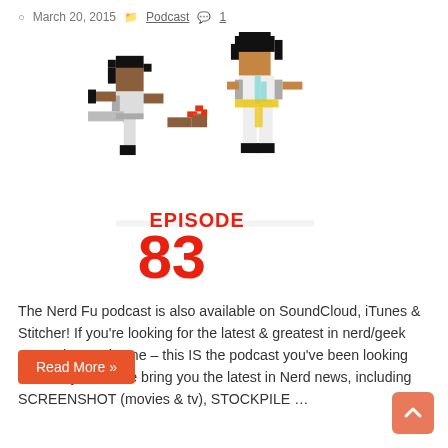March 20, 2015  Podcast  1
[Figure (illustration): Pixel art illustration of two karate fighters mid-kick/fighting pose, with 'EPISODE 83' text in red overlaid at the bottom left of the image.]
The Nerd Fu podcast is also available on SoundCloud, iTunes & Stitcher! If you're looking for the latest & greatest in nerd/geek news, then welcome – this IS the podcast you've been looking for. Every week we bring you the latest in Nerd news, including SCREENSHOT (movies & tv), STOCKPILE …
Read More »